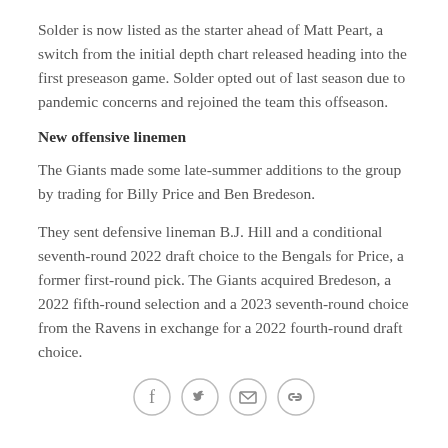Solder is now listed as the starter ahead of Matt Peart, a switch from the initial depth chart released heading into the first preseason game. Solder opted out of last season due to pandemic concerns and rejoined the team this offseason.
New offensive linemen
The Giants made some late-summer additions to the group by trading for Billy Price and Ben Bredeson.
They sent defensive lineman B.J. Hill and a conditional seventh-round 2022 draft choice to the Bengals for Price, a former first-round pick. The Giants acquired Bredeson, a 2022 fifth-round selection and a 2023 seventh-round choice from the Ravens in exchange for a 2022 fourth-round draft choice.
[Figure (other): Social sharing icons: Facebook, Twitter, Email, Link/Copy]